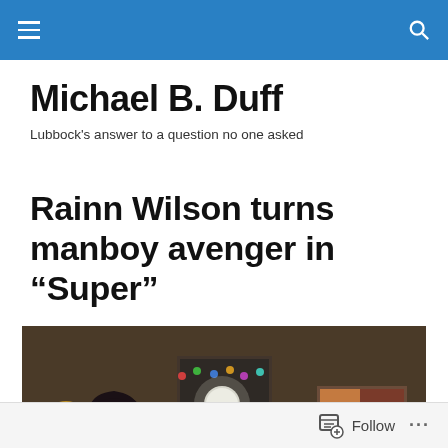Michael B. Duff
Lubbock's answer to a question no one asked
Rainn Wilson turns manboy avenger in “Super”
[Figure (photo): Scene from the film Super showing a young woman with dark hair leaning over looking at a man with a bowl cut in a plaid shirt, indoors with colorful string lights in the background]
Follow